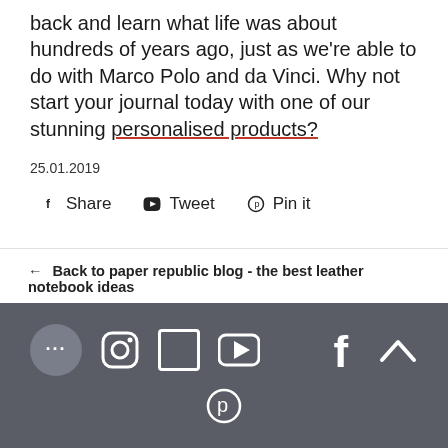back and learn what life was about hundreds of years ago, just as we're able to do with Marco Polo and da Vinci. Why not start your journal today with one of our stunning personalised products?
25.01.2019
f Share   Twitter Tweet   Pinterest Pin it
← Back to paper republic blog - the best leather notebook ideas
[Figure (infographic): Footer with social media icons: chat bubble, Instagram, square/Vimeo, YouTube play button, Facebook, upward chevron arrow, and a pin/Pinterest icon below]